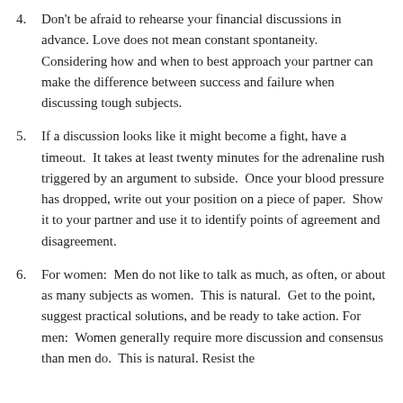4. Don't be afraid to rehearse your financial discussions in advance. Love does not mean constant spontaneity. Considering how and when to best approach your partner can make the difference between success and failure when discussing tough subjects.
5. If a discussion looks like it might become a fight, have a timeout.  It takes at least twenty minutes for the adrenaline rush triggered by an argument to subside.  Once your blood pressure has dropped, write out your position on a piece of paper.  Show it to your partner and use it to identify points of agreement and disagreement.
6. For women:  Men do not like to talk as much, as often, or about as many subjects as women.  This is natural.  Get to the point, suggest practical solutions, and be ready to take action. For men:  Women generally require more discussion and consensus than men do.  This is natural. Resist the